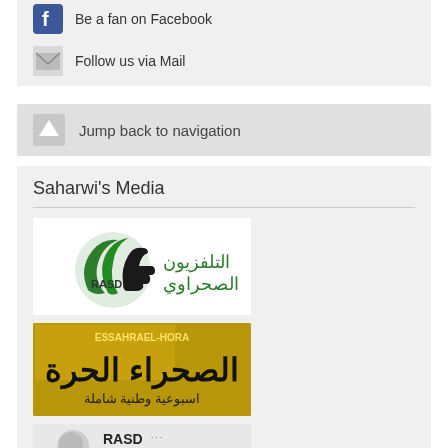Be a fan on Facebook
Follow us via Mail
Jump back to navigation
Saharwi's Media
[Figure (logo): RASD TV logo with Arabic text التلفزيون الصحراوي]
[Figure (logo): Essahrael-hora newspaper logo with Arabic text الصحراء الحرة اسبوعية وطنية شاملة]
[Figure (logo): RASD Radio logo, partially visible]